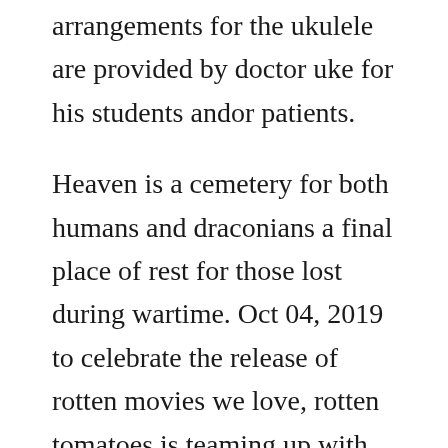arrangements for the ukulele are provided by doctor uke for his students andor patients.
Heaven is a cemetery for both humans and draconians a final place of rest for those lost during wartime. Oct 04, 2019 to celebrate the release of rotten movies we love, rotten tomatoes is teaming up with alamo drafthouse for screenings of three films featured in the book. Learning basic english pdfs downloads 2 common english errors book pdf 1 the most used english. Books library free download ebook pdf, epub, txt, doc, mobi. Follow her